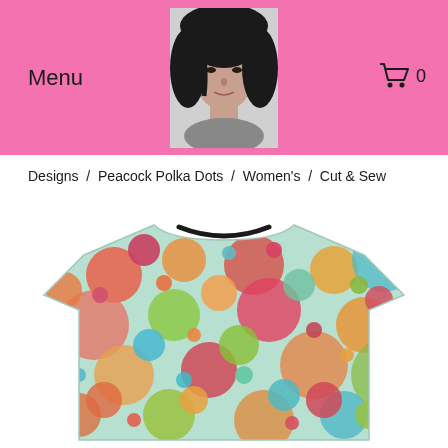Menu
[Figure (photo): Black and white photo of a woman with dark hair, used as a logo/avatar in the center of the pink header bar]
[Figure (illustration): Shopping cart icon with number 0, in top right of header]
Designs  /  Peacock Polka Dots  /  Women's  /  Cut & Sew
[Figure (photo): A women's cut & sew t-shirt with an all-over peacock polka dots print featuring colorful circles and bubbles in pink, orange, teal, green, red, and yellow on a light mint/green background]